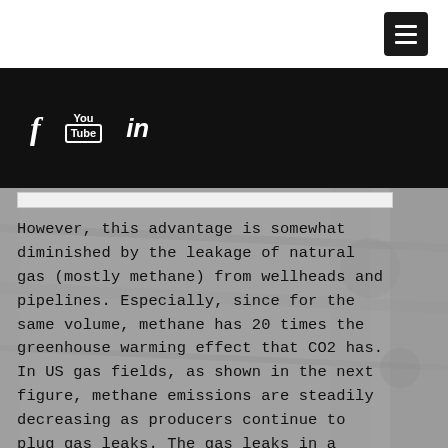[Figure (other): Navigation menu button (hamburger icon) in dark square, top right corner]
[Figure (other): Black navigation bar with social media icons: Facebook (f), YouTube (You/Tube), LinkedIn (in)]
However, this advantage is somewhat diminished by the leakage of natural gas (mostly methane) from wellheads and pipelines. Especially, since for the same volume, methane has 20 times the greenhouse warming effect that CO2 has. In US gas fields, as shown in the next figure, methane emissions are steadily decreasing as producers continue to plug gas leaks. The gas leaks in a wellhead or pipeline are